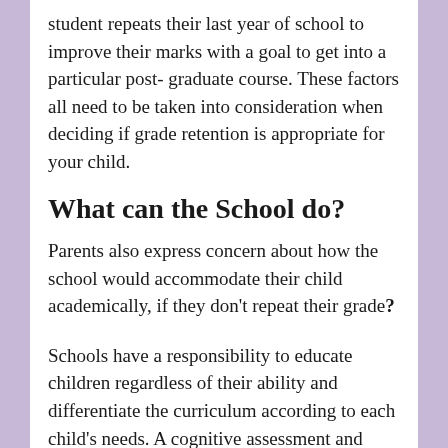student repeats their last year of school to improve their marks with a goal to get into a particular post- graduate course. These factors all need to be taken into consideration when deciding if grade retention is appropriate for your child.
What can the School do?
Parents also express concern about how the school would accommodate their child academically, if they don't repeat their grade?
Schools have a responsibility to educate children regardless of their ability and differentiate the curriculum according to each child's needs. A cognitive assessment and achievement test by a psychologist would